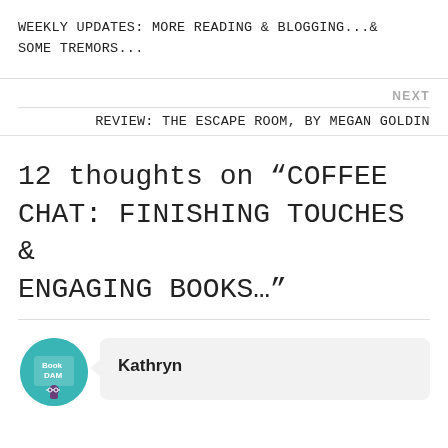WEEKLY UPDATES: MORE READING & BLOGGING...& SOME TREMORS...
NEXT
REVIEW: THE ESCAPE ROOM, BY MEGAN GOLDIN
12 thoughts on “COFFEE CHAT: FINISHING TOUCHES & ENGAGING BOOKS…”
Kathryn